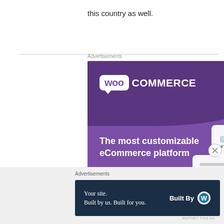this country as well.
Advertisements
[Figure (illustration): WooCommerce advertisement banner: purple background with WooCommerce logo, tagline 'The most customizable eCommerce platform', 'Start a new store' button, and UI mockup elements on the right side.]
Advertisements
[Figure (illustration): WordPress 'Built By' advertisement banner on dark navy background: 'Your site. Built by us. Built for you.' with WordPress logo on the right.]